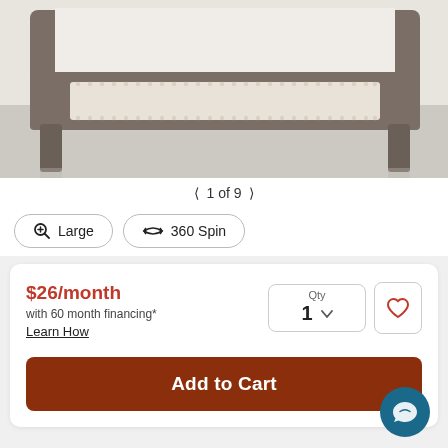[Figure (photo): Product photo of a bed footboard with upholstered beige fabric panel, nailhead trim, and grey wood frame on a light floor.]
< 1 of 9 >
Large
360 Spin
$26/month
with 60 month financing*
Learn How
Qty
1
Add to Cart